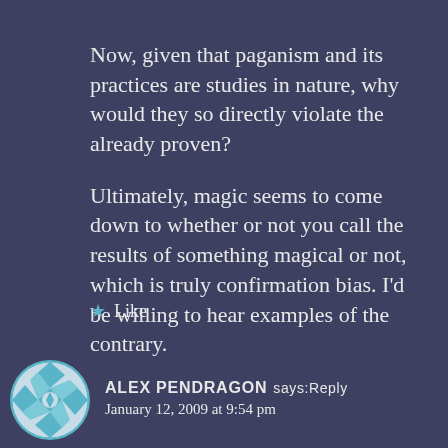Now, given that paganism and its practices are studies in nature, why would they so directly violate the already proven?
Ultimately, magic seems to come down to whether or not you call the results of something magical or not, which is truly confirmation bias. I'd be willing to hear examples of the contrary.
★ Like
[Figure (illustration): Circular avatar with blue and white geometric quilt-like pattern]
ALEX PENDRAGON says: Reply
January 12, 2009 at 9:54 pm